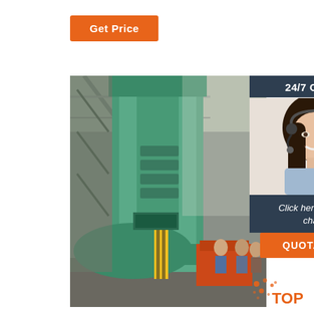Get Price
[Figure (photo): Large industrial hydraulic press machine in a factory/workshop setting, painted teal/green. Workers and orange equipment visible in the background. Workers inspecting the machine.]
24/7 Online
[Figure (photo): Customer service representative woman with headset, smiling, wearing a light blue shirt.]
Click here for free chat !
QUOTATION
[Figure (logo): TOP logo with orange dots and text]